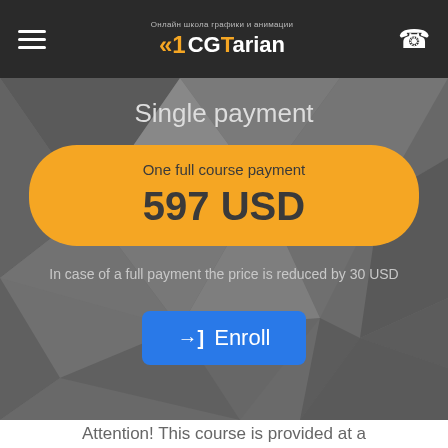CGTarian — online school of graphics and animation
Single payment
One full course payment
597 USD
In case of a full payment the price is reduced by 30 USD
→] Enroll
Attention! This course is provided at a